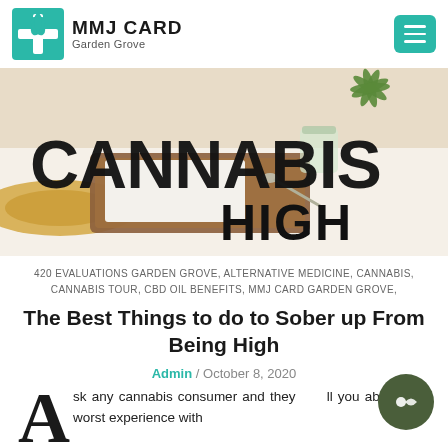MMJ CARD Garden Grove
[Figure (photo): Hero banner image showing cannabis-related items (hat, wooden tray, spoon, white fluffy background) with bold text overlay reading CANNABIS HIGH]
420 EVALUATIONS GARDEN GROVE, ALTERNATIVE MEDICINE, CANNABIS, CANNABIS TOUR, CBD OIL BENEFITS, MMJ CARD GARDEN GROVE,
The Best Things to do to Sober up From Being High
Admin / October 8, 2020
Ask any cannabis consumer and they will you about their worst experience with